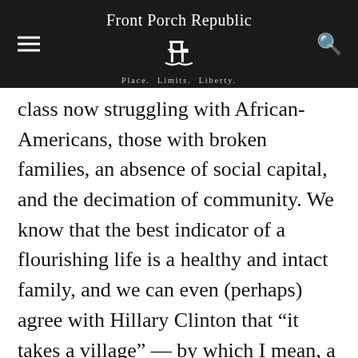Front Porch Republic — Place. Limits. Liberty.
class now struggling with African-Americans, those with broken families, an absence of social capital, and the decimation of community. We know that the best indicator of a flourishing life is a healthy and intact family, and we can even (perhaps) agree with Hillary Clinton that “it takes a village” — by which I mean, a community, an actual village, to support families in raising children. In America today, the ability to raise flourishing children is now a luxury good – the ultimate luxury good. Today’s progressives decry the “deplorables” even as they monopolize not just much of the financial and cultural capital, but even